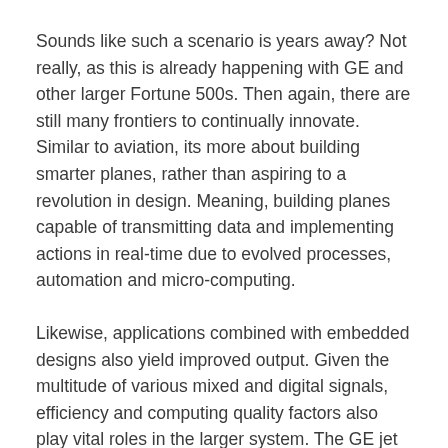Sounds like such a scenario is years away? Not really, as this is already happening with GE and other larger Fortune 500s. Then again, there are still many frontiers to continually innovate. Similar to aviation, its more about building smarter planes, rather than aspiring to a revolution in design. Meaning, building planes capable of transmitting data and implementing actions in real-time due to evolved processes, automation and micro-computing.
Likewise, applications combined with embedded designs also yield improved output. Given the multitude of various mixed and digital signals, efficiency and computing quality factors also play vital roles in the larger system. The GE jet engine featured in one particular plane has the ability to understand 5,000 data samples per second. From larger systems down to the micro embedded board level, it's all a beautiful play of symphony, akin to the precision of an opera. To carry the analogy further, the main cast are the architects and product extraordinaires who